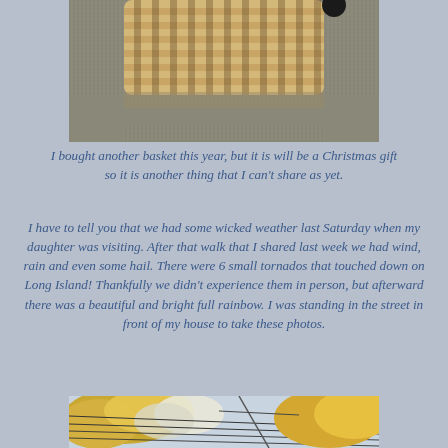[Figure (photo): Top portion of a woven basket sitting on carpet, viewed from above]
I bought another basket this year, but it is will be a Christmas gift so it is another thing that I can’t share as yet.
I have to tell you that we had some wicked weather last Saturday when my daughter was visiting. After that walk that I shared last week we had wind, rain and even some hail. There were 6 small tornados that touched down on Long Island! Thankfully we didn’t experience them in person, but afterward there was a beautiful and bright full rainbow. I was standing in the street in front of my house to take these photos.
[Figure (photo): Trees with autumn leaves and power lines visible against sky, taken from street in front of house after tornado weather]